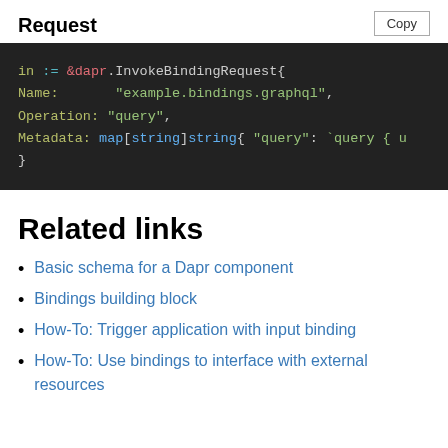Request
[Figure (screenshot): Code block showing Go code: in := &dapr.InvokeBindingRequest{ Name: "example.bindings.graphql", Operation: "query", Metadata: map[string]string{ "query": `query { u }]
Related links
Basic schema for a Dapr component
Bindings building block
How-To: Trigger application with input binding
How-To: Use bindings to interface with external resources